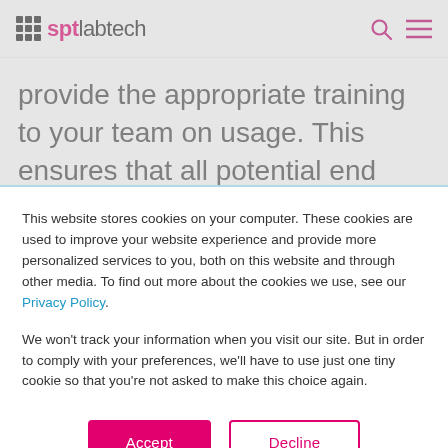sptlabtech
provide the appropriate training to your team on usage. This ensures that all potential end users have the opportunity to gain experience with the instrument and
This website stores cookies on your computer. These cookies are used to improve your website experience and provide more personalized services to you, both on this website and through other media. To find out more about the cookies we use, see our Privacy Policy.
We won't track your information when you visit our site. But in order to comply with your preferences, we'll have to use just one tiny cookie so that you're not asked to make this choice again.